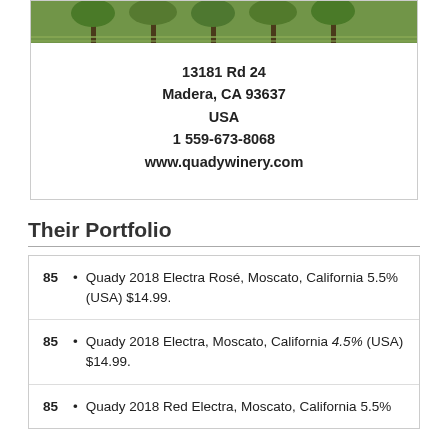[Figure (photo): Vineyard/winery outdoor photo showing green trees and vineyard rows]
13181 Rd 24
Madera, CA 93637
USA
1 559-673-8068
www.quadywinery.com
Their Portfolio
85 • Quady 2018 Electra Rosé, Moscato, California 5.5% (USA) $14.99.
85 • Quady 2018 Electra, Moscato, California 4.5% (USA) $14.99.
85 • Quady 2018 Red Electra, Moscato, California 5.5%